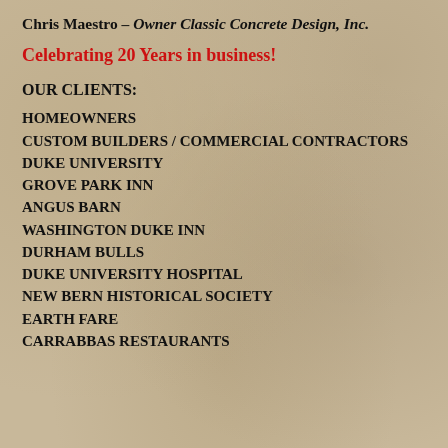Chris Maestro – Owner Classic Concrete Design, Inc.
Celebrating 20 Years in business!
OUR CLIENTS:
HOMEOWNERS
CUSTOM BUILDERS / COMMERCIAL CONTRACTORS
DUKE UNIVERSITY
GROVE PARK INN
ANGUS BARN
WASHINGTON DUKE INN
DURHAM BULLS
DUKE UNIVERSITY HOSPITAL
NEW BERN HISTORICAL SOCIETY
EARTH FARE
CARRABBAS RESTAURANTS